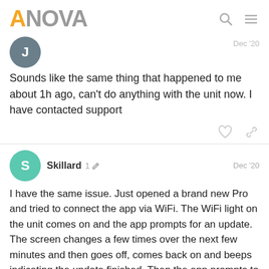ANOVA
[Figure (logo): ANOVA logo with orange A and gray NOVA text, plus search and menu icons]
Sounds like the same thing that happened to me about 1h ago, can't do anything with the unit now. I have contacted support
Skillard 1 Dec '20
I have the same issue. Just opened a brand new Pro and tried to connect the app via WiFi. The WiFi light on the unit comes on and the app prompts for an update. The screen changes a few times over the next few minutes and then goes off, comes back on and beeps indicating the update finished. Then the app prompts to press the temp button for 3 seconds and enter the code into the app. No code ever appears. The first time I attempted it I also received the 3220 as mentioned previously. I last tried something on the Anova app to try to connect as it'll